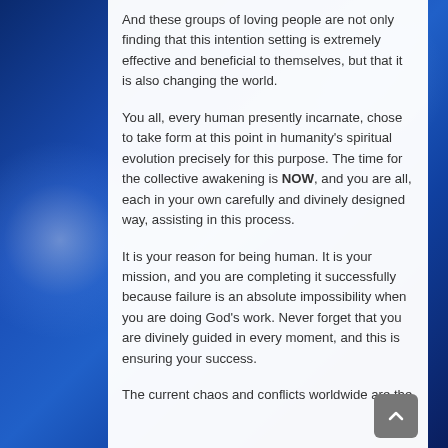And these groups of loving people are not only finding that this intention setting is extremely effective and beneficial to themselves, but that it is also changing the world.
You all, every human presently incarnate, chose to take form at this point in humanity's spiritual evolution precisely for this purpose. The time for the collective awakening is NOW, and you are all, each in your own carefully and divinely designed way, assisting in this process.
It is your reason for being human. It is your mission, and you are completing it successfully because failure is an absolute impossibility when you are doing God's work. Never forget that you are divinely guided in every moment, and this is ensuring your success.
The current chaos and conflicts worldwide are the